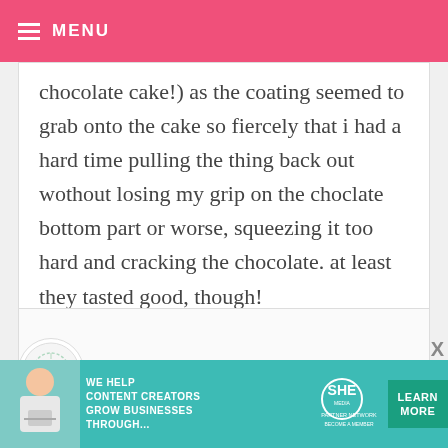MENU
chocolate cake!) as the coating seemed to grab onto the cake so fiercely that i had a hard time pulling the thing back out wothout losing my grip on the choclate bottom part or worse, squeezing it too hard and cracking the chocolate. at least they tasted good, though!
BAKERELLA — MAY 13, 2008 @ 12:14 AM  REPLY
[Figure (other): SHE Partner Network advertisement banner with photo of woman and 'LEARN MORE' button]